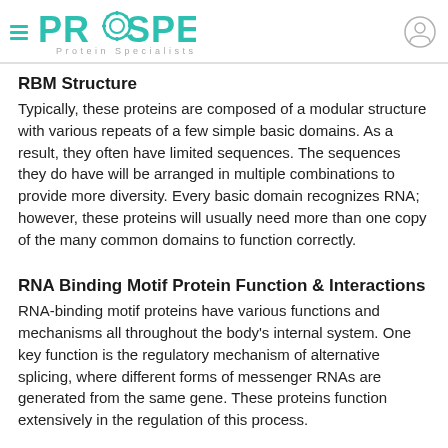PROSPEC Protein Specialists
RBM Structure
Typically, these proteins are composed of a modular structure with various repeats of a few simple basic domains. As a result, they often have limited sequences. The sequences they do have will be arranged in multiple combinations to provide more diversity. Every basic domain recognizes RNA; however, these proteins will usually need more than one copy of the many common domains to function correctly.
RNA Binding Motif Protein Function & Interactions
RNA-binding motif proteins have various functions and mechanisms all throughout the body's internal system. One key function is the regulatory mechanism of alternative splicing, where different forms of messenger RNAs are generated from the same gene. These proteins function extensively in the regulation of this process.